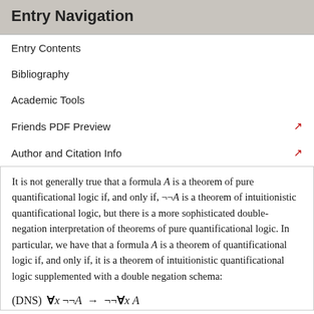Entry Navigation
Entry Contents
Bibliography
Academic Tools
Friends PDF Preview
Author and Citation Info
It is not generally true that a formula A is a theorem of pure quantificational logic if, and only if, ¬¬A is a theorem of intuitionistic quantificational logic, but there is a more sophisticated double-negation interpretation of theorems of pure quantificational logic. In particular, we have that a formula A is a theorem of quantificational logic if, and only if, it is a theorem of intuitionistic quantificational logic supplemented with a double negation schema: